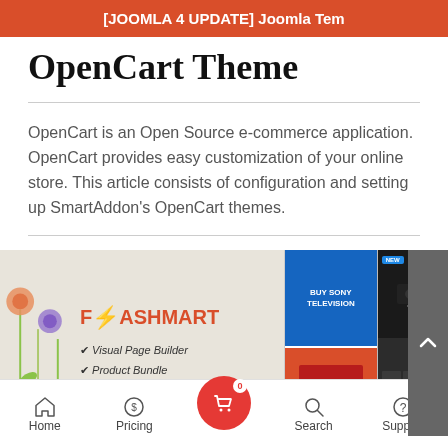[JOOMLA 4 UPDATE] Joomla Tem
OpenCart Theme
OpenCart is an Open Source e-commerce application. OpenCart provides easy customization of your online store. This article consists of configuration and setting up SmartAddon's OpenCart themes.
[Figure (screenshot): Screenshot of FlashMart OpenCart theme showing logo with lightning bolt, Visual Page Builder and Product Bundle features, and multiple store preview panels]
Home  Pricing  [cart 0]  Search  Support